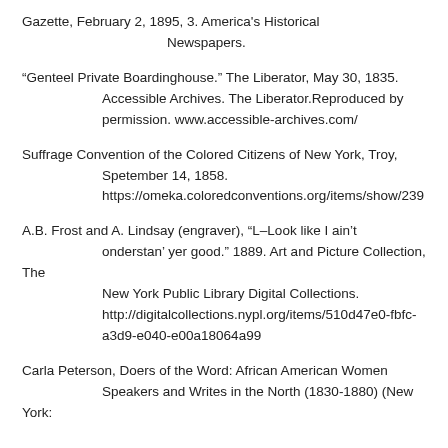Gazette, February 2, 1895, 3. America's Historical Newspapers.
“Genteel Private Boardinghouse.” The Liberator, May 30, 1835. Accessible Archives. The Liberator.Reproduced by permission. www.accessible-archives.com/
Suffrage Convention of the Colored Citizens of New York, Troy, Spetember 14, 1858. https://omeka.coloredconventions.org/items/show/239
A.B. Frost and A. Lindsay (engraver), “L–Look like I ain’t onderstan’ yer good.” 1889. Art and Picture Collection, The New York Public Library Digital Collections. http://digitalcollections.nypl.org/items/510d47e0-fbfc-a3d9-e040-e00a18064a99
Carla Peterson, Doers of the Word: African American Women Speakers and Writes in the North (1830-1880) (New York: